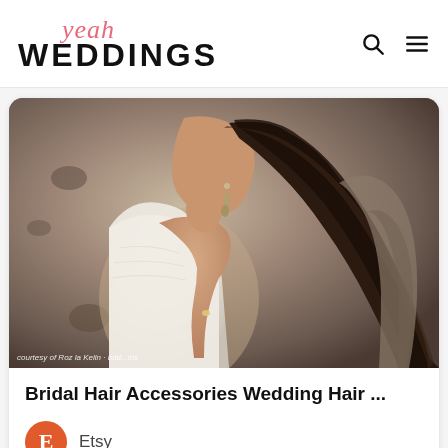yeah WEDDINGS
[Figure (photo): Woman in white strapless lace wedding dress with long dark hair and feather earrings, posed against a distressed stone wall background. Watermark: courtesy of Roz la Kelin - brid...iris]
Bridal Hair Accessories Wedding Hair ...
Etsy
Colored Locks